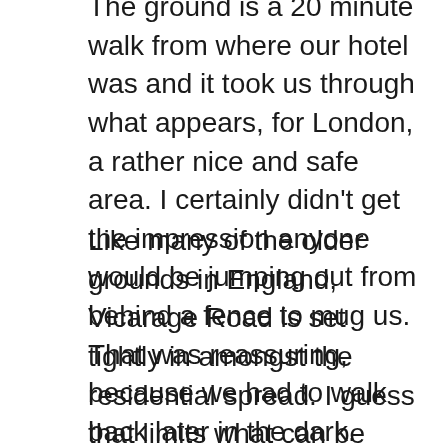The ground is a 20 minute walk from where our hotel was and it took us through what appears, for London, a rather nice and safe area. I certainly didn't get the impression anyone would be jumping out from behind a fence to mug us. That was reassuring, because we had to walk back later in the dark.
Like many of the older grounds in England, Vicarage Road is set tightly in amongst the residential spread. I guess that limits what can be done with the ground, but it's in better shape than it was the last time I visited (early 2011 when a Brighton side with Chris Wood playing up front knocked Watford out